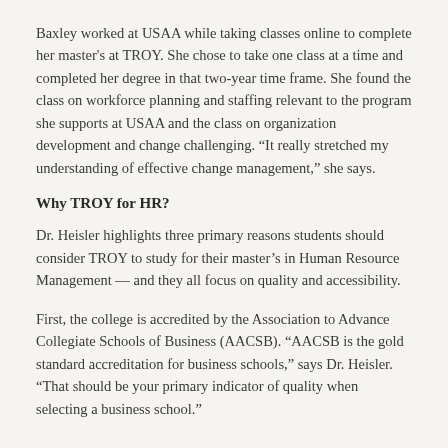Baxley worked at USAA while taking classes online to complete her master's at TROY. She chose to take one class at a time and completed her degree in that two-year time frame. She found the class on workforce planning and staffing relevant to the program she supports at USAA and the class on organization development and change challenging. “It really stretched my understanding of effective change management,” she says.
Why TROY for HR?
Dr. Heisler highlights three primary reasons students should consider TROY to study for their master’s in Human Resource Management — and they all focus on quality and accessibility.
First, the college is accredited by the Association to Advance Collegiate Schools of Business (AACSB). “AACSB is the gold standard accreditation for business schools,” says Dr. Heisler. “That should be your primary indicator of quality when selecting a business school.”